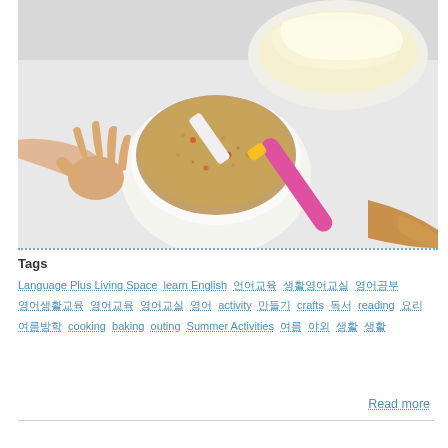[Figure (photo): Overhead view of hands and bowls on a white table: a hand reaching toward a bowl of crumbly food mix with a pink/yellow spatula, another bowl of creamy white food in the background, and another hand holding something at lower right.]
Tags
Language Plus Living Space  learn English  언어  생활영어  영어공부  영어생활  영어교육  영어교실  영어  activity  만들기  crafts  독서  reading  요리  여름방학  cooking  baking  outing  Summer Activities  여름  야외  생활  생활
Read more